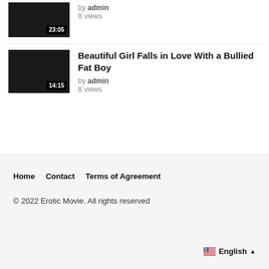[Figure (screenshot): Video thumbnail 1: dark black rectangle with duration 23:05]
by admin
8 views
[Figure (screenshot): Video thumbnail 2: dark black rectangle with duration 14:15]
Beautiful Girl Falls in Love With a Bullied Fat Boy
by admin
8 views
Home   Contact   Terms of Agreement
© 2022 Erotic Movie. All rights reserved
English